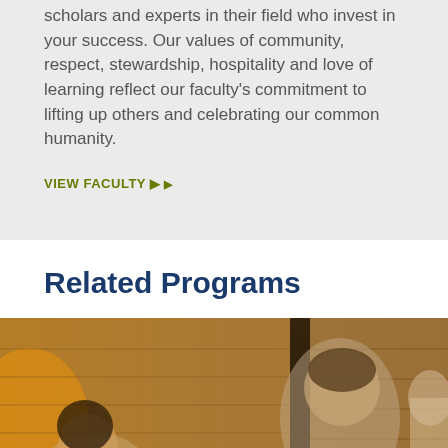scholars and experts in their field who invest in your success. Our values of community, respect, stewardship, hospitality and love of learning reflect our faculty's commitment to lifting up others and celebrating our common humanity.
VIEW FACULTY ▶
Related Programs
[Figure (photo): Two students (a woman on the left smiling and a young man on the right looking down) in a brick-walled interior setting with warm lighting.]
Contact Admissons ▶